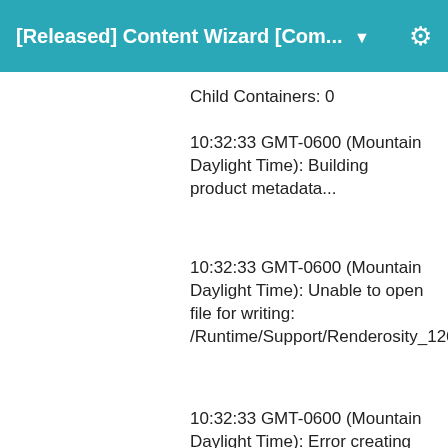[Released] Content Wizard [Com... ▼
Child Containers: 0
10:32:33 GMT-0600 (Mountain Daylight Time): Building product metadata...
10:32:33 GMT-0600 (Mountain Daylight Time): Unable to open file for writing: /Runtime/Support/Renderosity_126669_dForce_Tempest_Dress_for_Genesis_8_Females.dsx
10:32:33 GMT-0600 (Mountain Daylight Time): Error creating metadata for Daz Studio import: /Runtime/Support/Renderosity